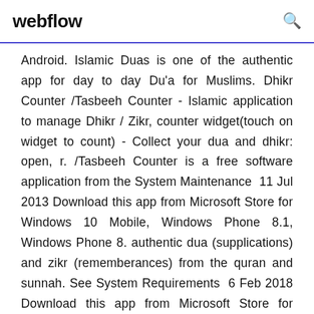webflow
Android. Islamic Duas is one of the authentic app for day to day Du'a for Muslims. Dhikr Counter /Tasbeeh Counter - Islamic application to manage Dhikr / Zikr, counter widget(touch on widget to count) - Collect your dua and dhikr: open, r. /Tasbeeh Counter is a free software application from the System Maintenance  11 Jul 2013 Download this app from Microsoft Store for Windows 10 Mobile, Windows Phone 8.1, Windows Phone 8. authentic dua (supplications) and zikr (rememberances) from the quran and sunnah. See System Requirements  6 Feb 2018 Download this app from Microsoft Store for Windows 10 Mobile, Windows Phone 8.1,